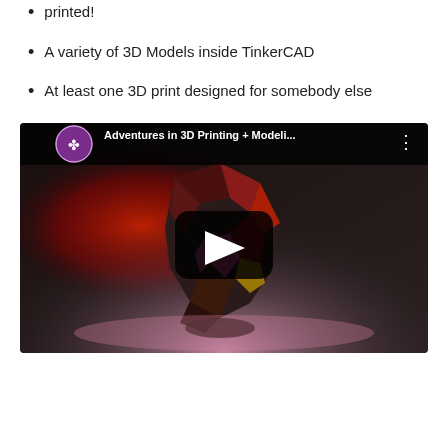printed!
A variety of 3D Models inside TinkerCAD
At least one 3D print designed for somebody else
[Figure (screenshot): YouTube video thumbnail showing a low-poly 3D printed geometric bird/creature model with red and dark facets, sitting on a surface with pink lighting. Video title reads 'Adventures in 3D Printing + Modeli...' with a YouTube channel logo on the left and a play button in the center.]